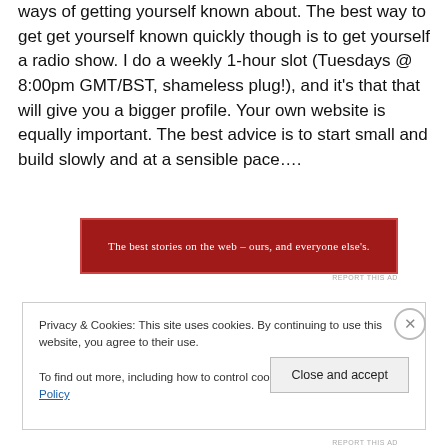ways of getting yourself known about. The best way to get get yourself known quickly though is to get yourself a radio show. I do a weekly 1-hour slot (Tuesdays @ 8:00pm GMT/BST, shameless plug!), and it's that that will give you a bigger profile. Your own website is equally important. The best advice is to start small and build slowly and at a sensible pace….
[Figure (other): Red advertisement banner with white text: 'The best stories on the web – ours, and everyone else's.']
REPORT THIS AD
Privacy & Cookies: This site uses cookies. By continuing to use this website, you agree to their use.
To find out more, including how to control cookies, see here: Cookie Policy
Close and accept
REPORT THIS AD